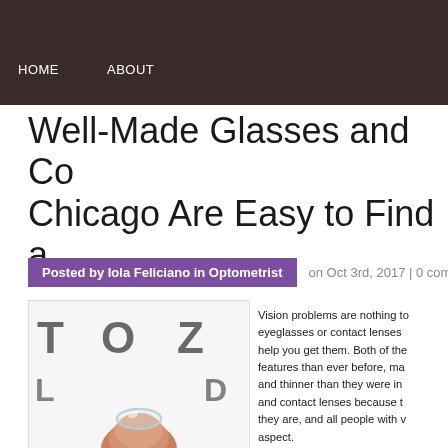HOME    ABOUT
Well-Made Glasses and Co... Chicago Are Easy to Find a...
Posted by Iola Feliciano in Optometrist   on Oct 3rd, 2017 | 0 comme...
[Figure (photo): A contact lens balanced on a fingertip in front of a blurred eye chart showing letters T, O, Z, L, D]
Vision problems are nothing to... eyeglasses or contact lenses... help you get them. Both of the... features than ever before, ma... and thinner than they were in... and contact lenses because t... they are, and all people with v... aspect.